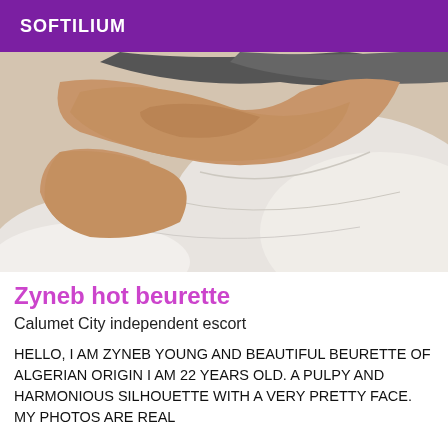SOFTILIUM
[Figure (photo): Close-up photo of a person lying on white bedding, partial body view showing arms and torso against white pillows and sheets]
Zyneb hot beurette
Calumet City independent escort
HELLO, I AM ZYNEB YOUNG AND BEAUTIFUL BEURETTE OF ALGERIAN ORIGIN I AM 22 YEARS OLD. A PULPY AND HARMONIOUS SILHOUETTE WITH A VERY PRETTY FACE. MY PHOTOS ARE REAL